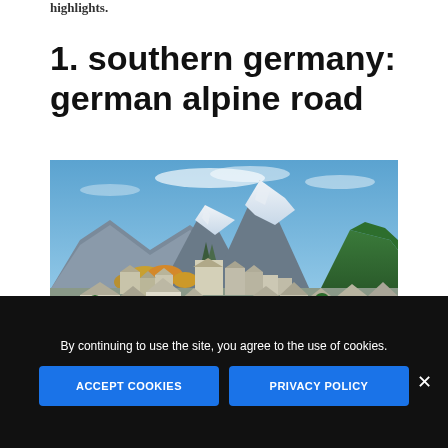highlights.
1. southern germany: german alpine road
[Figure (photo): Scenic photo of a European alpine town (Berchtesgaden) with snow-capped mountains in the background, a church with spires in the middle ground, autumn trees on the hillside, and historic buildings in the foreground.]
By continuing to use the site, you agree to the use of cookies.
ACCEPT COOKIES
PRIVACY POLICY